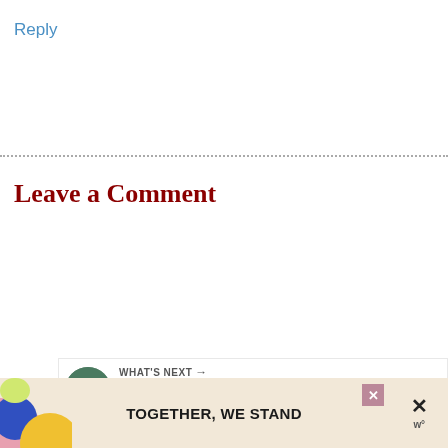Reply
Leave a Comment
[Figure (screenshot): Comment text input area (empty form field), with social sharing buttons: heart/like button showing 103K, and a share button]
[Figure (infographic): WHAT'S NEXT banner with thumbnail image and text 'The best things to do ...']
[Figure (infographic): Advertisement banner reading TOGETHER, WE STAND with colorful shapes, close button and W logo]